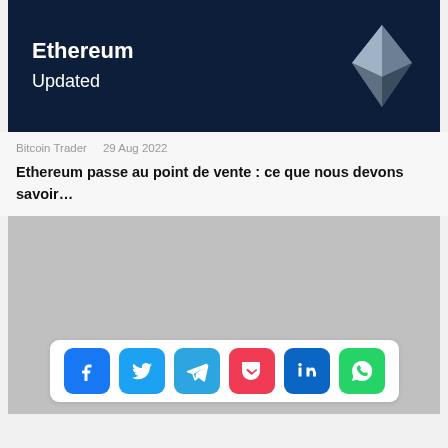[Figure (illustration): Dark navy blue banner image with text 'Ethereum Updated' in white and the Ethereum diamond logo on the right]
Bitcoin Trader    29 Aug 2022
Ethereum passe au point de vente : ce que nous devons savoir…
[Figure (screenshot): Gray placeholder rectangle (advertisement or image area) with social media share icons bar at the bottom showing Facebook, Twitter, Telegram, Pocket, LinkedIn, and WhatsApp icons]